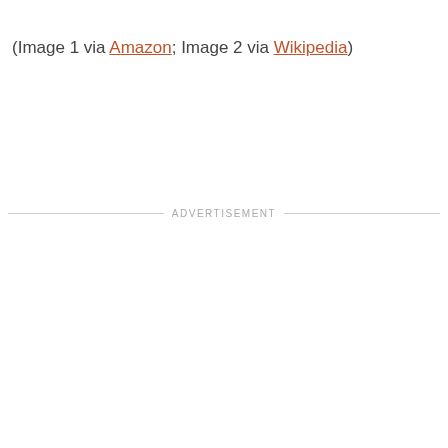(Image 1 via Amazon; Image 2 via Wikipedia)
ADVERTISEMENT